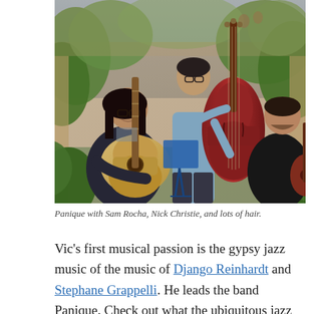[Figure (photo): Three musicians posed outdoors. On the left, a man with long dark hair and glasses plays an acoustic guitar. In the center, a tall man in a light blue shirt stands behind a large upright double bass. On the right, a man in a black shirt sits holding a guitar. Lush green plants are visible in the background.]
Panique with Sam Rocha, Nick Christie, and lots of hair.
Vic's first musical passion is the gypsy jazz music of the music of Django Reinhardt and Stephane Grappelli. He leads the band Panique. Check out what the ubiquitous jazz wordsmith Michael Steinman had to say about the group: